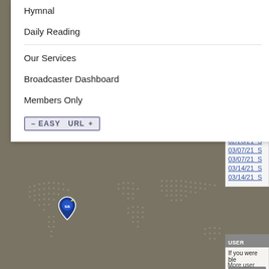Hymnal
Daily Reading
Our Services
Broadcaster Dashboard
Members Only
EASY URL +
[Figure (map): World map with dotted country outlines on grey/tan background, with a blue map pin marker showing an 'sa' logo in the upper left area (North America region)]
1 Peter 1:13-21
Sunday - AM
Hudson Valley U
P
Sermons pr
02/21/21  S
02/28/21  S
02/28/21  S
03/07/21  S
03/07/21  S
03/14/21  S
03/14/21  S
USER COMME
If you were ble
Add C
More user